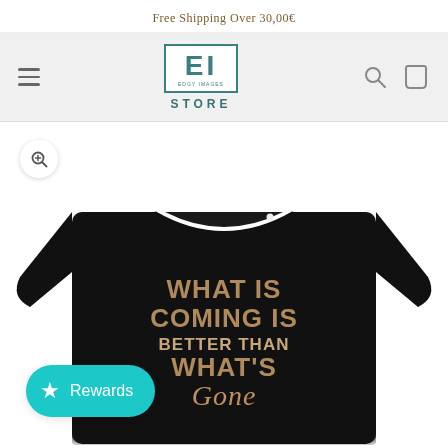Free Shipping Over 30,00€
[Figure (logo): EI EDGY IMAGES STORE logo — teal block letters EI in a bordered box with STORE text below]
[Figure (photo): Black t-shirt with motivational text graphic: WHAT IS COMING IS BETTER THAN WHAT'S Gone, in tan/brown lettering]
Rewards